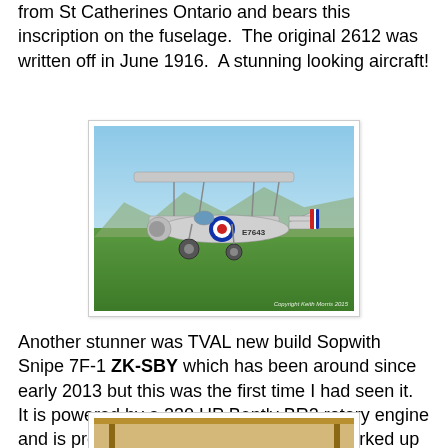from St Catherines Ontario and bears this inscription on the fuselage.  The original 2612 was written off in June 1916.  A stunning looking aircraft!
[Figure (photo): Photograph of a vintage biplane (Sopwith Snipe) marked E7643 on grass airfield, silver finish with RAF roundel, tail marked with red/white/blue. Copyright Keith Morris 2015.]
Another stunner was TVAL new build Sopwith Snipe 7F-1 ZK-SBY which has been around since early 2013 but this was the first time I had seen it.  It is powered by a 230 HP Bently BR2 rotary engine and is presented as a late model Snipe marked up as E7643 from around 1919.
[Figure (photo): Partial photograph of another vintage aircraft, showing wooden/tan coloring, cropped at bottom of page.]